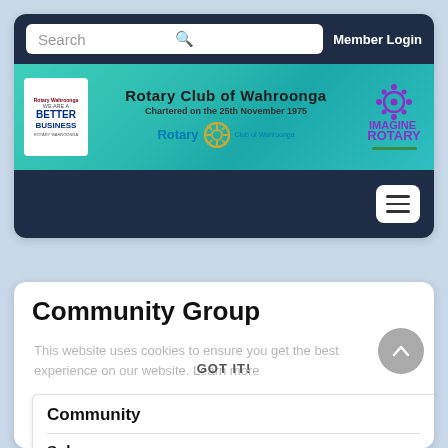[Figure (screenshot): Rotary Club of Wahroonga website header with search bar and Member Login button on dark navy background]
[Figure (screenshot): Rotary Club of Wahroonga banner: teal background with We Are A Better Business logo, club name, chartered date, Rotary wheel logo, and Imagine Rotary logo]
[Figure (screenshot): Dark navy navigation bar with hamburger menu button on right]
Community Group
This website uses cookies to ensure you get the best experience on our website. Learn more
Community
Subpages
Community Objectives
GOT IT!